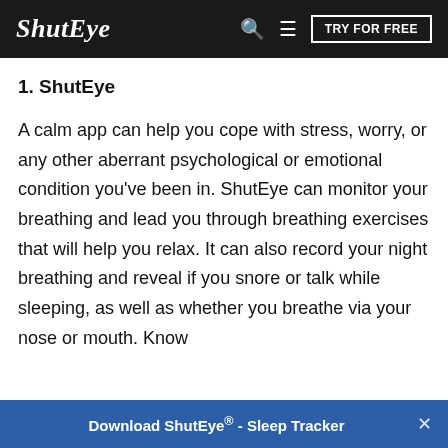ShutEye  🔍  ≡  TRY FOR FREE
1. ShutEye
A calm app can help you cope with stress, worry, or any other aberrant psychological or emotional condition you've been in. ShutEye can monitor your breathing and lead you through breathing exercises that will help you relax. It can also record your night breathing and reveal if you snore or talk while sleeping, as well as whether you breathe via your nose or mouth. Know
Download ShutEye® - Sleep Tracker  ×